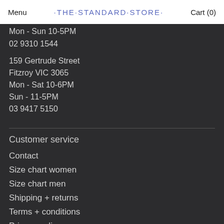Menu · THE · STANDARD · STORE · Cart (0)
Mon - Sun 10-5PM
02 9310 1544
159 Gertrude Street
Fitzroy VIC 3065
Mon - Sat 10-6PM
Sun - 11-5PM
03 9417 5150
Customer service
Contact
Size chart women
Size chart men
Shipping + returns
Terms + conditions
Privacy policy